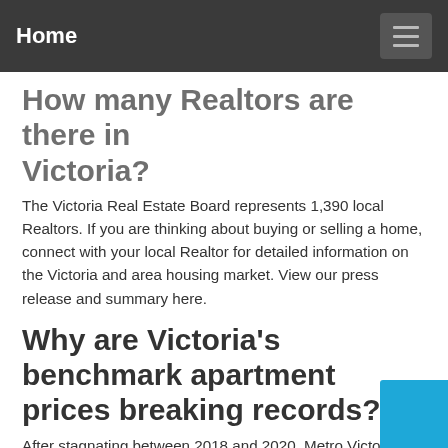Home
How many Realtors are there in Victoria?
The Victoria Real Estate Board represents 1,390 local Realtors. If you are thinking about buying or selling a home, connect with your local Realtor for detailed information on the Victoria and area housing market. View our press release and summary here.
Why are Victoria's benchmark apartment prices breaking records?
After stagnating between 2018 and 2020, Metro Victoria's benchmark apartment price is responding to pandemic-induced demand and is breaking records. Early in the pandemic, people had theorized that condos are no longer